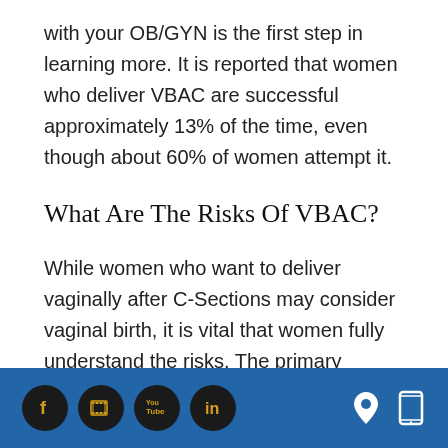with your OB/GYN is the first step in learning more. It is reported that women who deliver VBAC are successful approximately 13% of the time, even though about 60% of women attempt it.
What Are The Risks Of VBAC?
While women who want to deliver vaginally after C-Sections may consider vaginal birth, it is vital that women fully understand the risks. The primary concern is that of uterine
Social media icons and contact icons